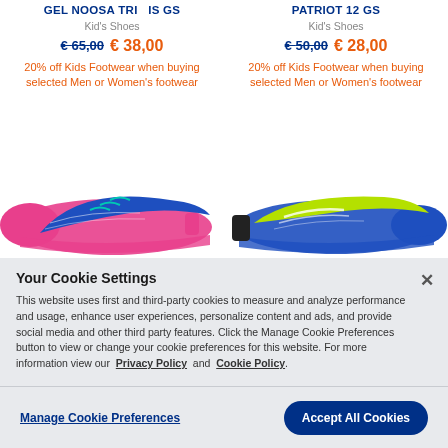GEL NOOSA TRI ...
Kid's Shoes
€ 65,00 € 38,00
20% off Kids Footwear when buying selected Men or Women's footwear
PATRIOT 12 GS
Kid's Shoes
€ 50,00 € 28,00
20% off Kids Footwear when buying selected Men or Women's footwear
[Figure (photo): Pink and blue ASICS kids running shoe (left product)]
[Figure (photo): Yellow-green and blue ASICS kids running shoe (right product)]
Your Cookie Settings
This website uses first and third-party cookies to measure and analyze performance and usage, enhance user experiences, personalize content and ads, and provide social media and other third party features. Click the Manage Cookie Preferences button to view or change your cookie preferences for this website. For more information view our Privacy Policy and Cookie Policy.
Manage Cookie Preferences
Accept All Cookies